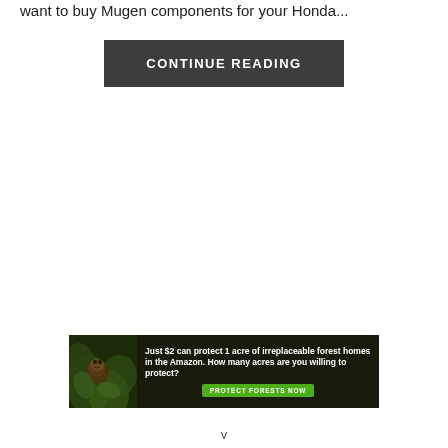want to buy Mugen components for your Honda...
CONTINUE READING
[Figure (infographic): Amazon forest conservation advertisement banner showing a primate in lush green foliage with text: 'Just $2 can protect 1 acre of irreplaceable forest homes in the Amazon. How many acres are you willing to protect?' and a green button labeled 'PROTECT FORESTS NOW']
v